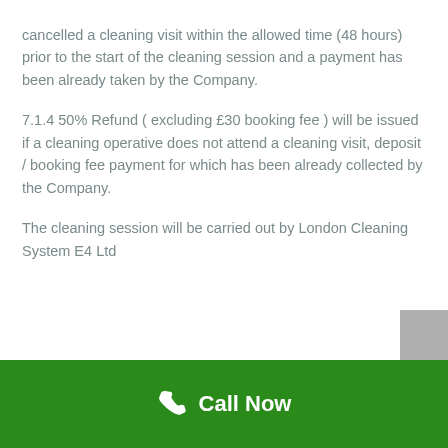cancelled a cleaning visit within the allowed time (48 hours) prior to the start of the cleaning session and a payment has been already taken by the Company.
7.1.4 50% Refund ( excluding £30 booking fee ) will be issued if a cleaning operative does not attend a cleaning visit, deposit / booking fee payment for which has been already collected by the Company.
The cleaning session will be carried out by London Cleaning System E4 Ltd
Call Now